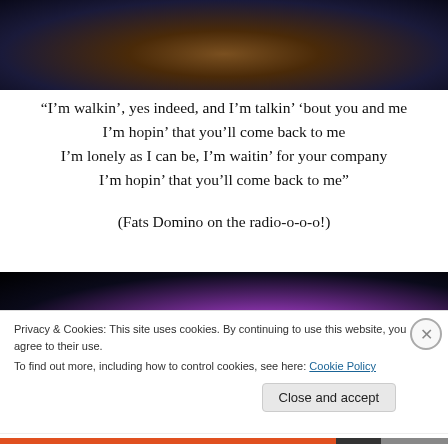[Figure (photo): Dark theatrical photo of a performance scene with warm amber and deep blue tones, showing a figure or costume element at the top portion.]
“I’m walkin’, yes indeed, and I’m talkin’ ’bout you and me
I’m hopin’ that you’ll come back to me
I’m lonely as I can be, I’m waitin’ for your company
I’m hopin’ that you’ll come back to me”
(Fats Domino on the radio-o-o-o!)
[Figure (photo): Dark stage photo with a figure lit in purple and magenta tones against a black background, appearing to show a dancer or performer.]
Privacy & Cookies: This site uses cookies. By continuing to use this website, you agree to their use.
To find out more, including how to control cookies, see here: Cookie Policy
Close and accept